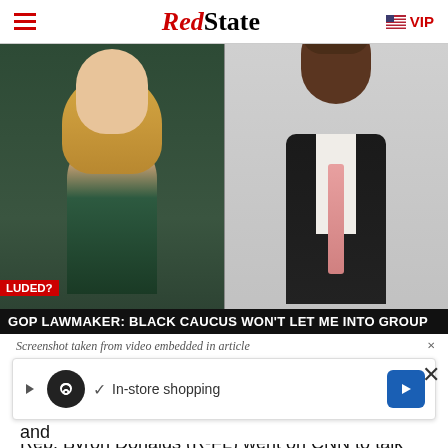RedState | VIP
[Figure (screenshot): Split-screen CNN broadcast screenshot showing a blonde female anchor on the left and a Black male congressman in a dark suit with pink tie on the right. Lower thirds read 'LUDED?' in red bar and 'GOP LAWMAKER: BLACK CAUCUS WON'T LET ME INTO GROUP' in black bar.]
Screenshot taken from video embedded in article
Looks like we may have another star in the making coming out of Florida.
Rep. Byron Donalds (R-FL) went on CNN to talk about being denied access to being in the Congressional
[Figure (screenshot): Advertisement banner with play button, infinity logo, checkmark, 'In-store shopping' text, and blue arrow button]
if you're a Republican, a very bad position to take and